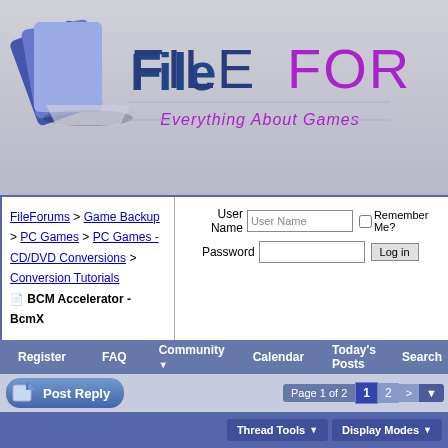[Figure (logo): FileForums logo with cards graphic and tagline 'Everything About Games']
FileForums > Game Backup > PC Games > PC Games - CD/DVD Conversions > Conversion Tutorials
 BCM Accelerator - BcmX
User Name | Password | Remember Me? | Log in
Register  FAQ  Community  Calendar  Today's Posts  Search
Post Reply  Page 1 of 2  1  2  >
Thread Tools  Display Modes